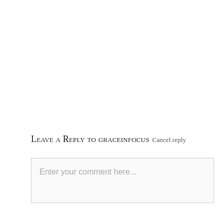Leave a Reply to graceinfocus Cancel reply
Enter your comment here...